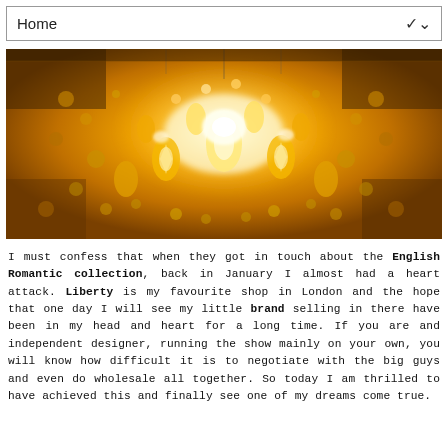Home
[Figure (photo): Close-up photograph of a crystal chandelier with golden amber-lit gem-like crystals and faceted jewels glowing with warm light.]
I must confess that when they got in touch about the English Romantic collection, back in January I almost had a heart attack. Liberty is my favourite shop in London and the hope that one day I will see my little brand selling in there have been in my head and heart for a long time. If you are and independent designer, running the show mainly on your own, you will know how difficult it is to negotiate with the big guys and even do wholesale all together. So today I am thrilled to have achieved this and finally see one of my dreams come true.